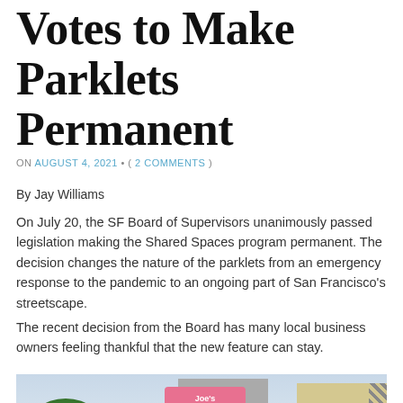Votes to Make Parklets Permanent
ON AUGUST 4, 2021 • ( 2 COMMENTS )
By Jay Williams
On July 20, the SF Board of Supervisors unanimously passed legislation making the Shared Spaces program permanent. The decision changes the nature of the parklets from an emergency response to the pandemic to an ongoing part of San Francisco's streetscape.
The recent decision from the Board has many local business owners feeling thankful that the new feature can stay.
[Figure (photo): Exterior photo showing trees, buildings, and a Joe's Ice Cream storefront sign with white bollard posts in the foreground]